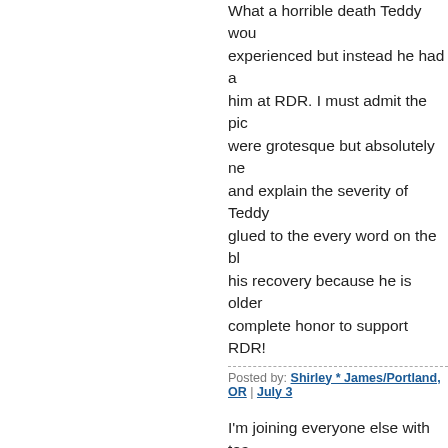What a horrible death Teddy wou... experienced but instead he had a... him at RDR. I must admit the pic... were grotesque but absolutely ne... and explain the severity of Tedd... glued to the every word on the bl... his recovery because he is older... complete honor to support RDR!
Posted by: Shirley * James/Portland, OR | July 3...
I'm joining everyone else with tea... for Teddy! Thanks for your loving... all the RDR animals! Prayers for... complete recovery and God bles... selfless hearts.
Posted by: Leila from Washington | July 31, 2009...
Oh Teddy you poor wee fellow!! Y...